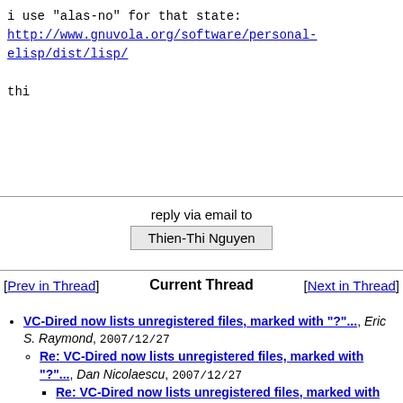i use "alas-no" for that state:
http://www.gnuvola.org/software/personal-elisp/dist/lisp/

thi
reply via email to
Thien-Thi Nguyen
[Prev in Thread]   Current Thread   [Next in Thread]
VC-Dired now lists unregistered files, marked with "?"..., Eric S. Raymond, 2007/12/27
Re: VC-Dired now lists unregistered files, marked with "?"..., Dan Nicolaescu, 2007/12/27
Re: VC-Dired now lists unregistered files, marked with "?"..., Eric S. Raymond, 2007/12/28
Re: VC-Dired now lists unregistered files, marked with "?"..., Thien-Thi Nguyen <=
Re: VC-Dired now lists unregistered files, marked with "?"..., Dan